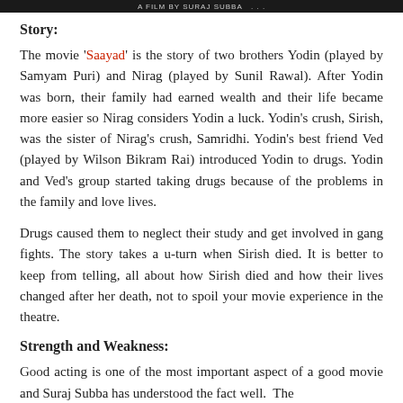A FILM BY SURAJ SUBBA ...
Story:
The movie 'Saayad' is the story of two brothers Yodin (played by Samyam Puri) and Nirag (played by Sunil Rawal). After Yodin was born, their family had earned wealth and their life became more easier so Nirag considers Yodin a luck. Yodin's crush, Sirish, was the sister of Nirag's crush, Samridhi. Yodin's best friend Ved (played by Wilson Bikram Rai) introduced Yodin to drugs. Yodin and Ved's group started taking drugs because of the problems in the family and love lives.
Drugs caused them to neglect their study and get involved in gang fights. The story takes a u-turn when Sirish died. It is better to keep from telling, all about how Sirish died and how their lives changed after her death, not to spoil your movie experience in the theatre.
Strength and Weakness:
Good acting is one of the most important aspect of a good movie and Suraj Subba has understood the fact well.  The